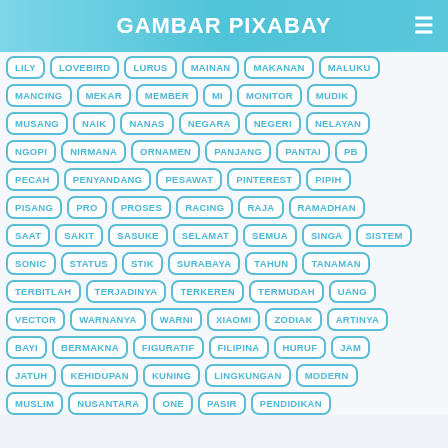GAMBAR PIXABAY
LILY, LOVEBIRD, LURUS, MAINAN, MAKANAN, MALUKU
MANCING, MEKAR, MEMBER, MI, MONITOR, MUDIK
MUSANG, NAIK, NANAS, NEGARA, NEGERI, NELAYAN
NGOPI, NIRMANA, ORNAMEN, PANJANG, PANTAI, PB
PECAH, PENYANDANG, PESAWAT, PINTEREST, PIPIH
PISANG, PRO, PROSES, RACING, RAJA, RAMADHAN
SAAT, SAKIT, SASUKE, SELAMAT, SEMUA, SINGA, SISTEM
SONIC, STATUS, STIK, SURABAYA, TAHUN, TANAMAN
TERBITLAH, TERJADINYA, TERKEREN, TERMUDAH, UANG
VECTOR, WARNANYA, WARNI, XIAOMI, ZODIAK, ARTINYA
BAYI, BERMAKNA, FIGURATIF, FILIPINA, HURUF, JAM
JATUH, KEHIDUPAN, KUNING, LINGKUNGAN, MODERN
MUSLIM, NUSANTARA, ONE, PASIR, PENDIDIKAN